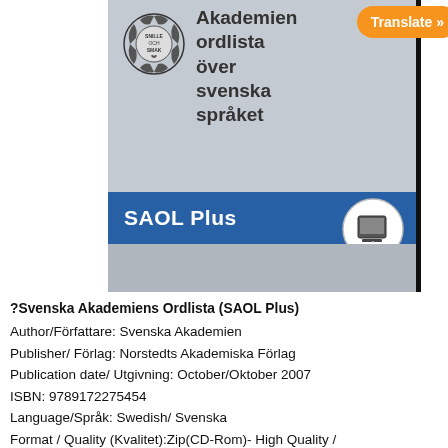[Figure (photo): Book cover of Svenska Akademiens Ordlista (SAOL Plus) showing a grey cover with the Swedish Academy logo, title text, and a blue SAOL Plus banner. An orange Translate button appears in the top-right corner.]
?Svenska Akademiens Ordlista (SAOL Plus)
Author/Författare: Svenska Akademien
Publisher/ Förlag: Norstedts Akademiska Förlag
Publication date/ Utgivning: October/Oktober 2007
ISBN: 9789172275454
Language/Språk: Swedish/ Svenska
Format / Quality (Kvalitet):Zip(CD-Rom)- High Quality /